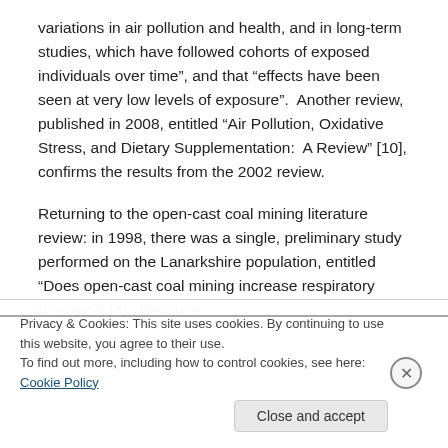variations in air pollution and health, and in long-term studies, which have followed cohorts of exposed individuals over time”, and that “effects have been seen at very low levels of exposure”.  Another review, published in 2008, entitled “Air Pollution, Oxidative Stress, and Dietary Supplementation:  A Review” [10], confirms the results from the 2002 review.
Returning to the open-cast coal mining literature review: in 1998, there was a single, preliminary study performed on the Lanarkshire population, entitled “Does open-cast coal mining increase respiratory disease?” [4].  Because
Privacy & Cookies: This site uses cookies. By continuing to use this website, you agree to their use.
To find out more, including how to control cookies, see here: Cookie Policy